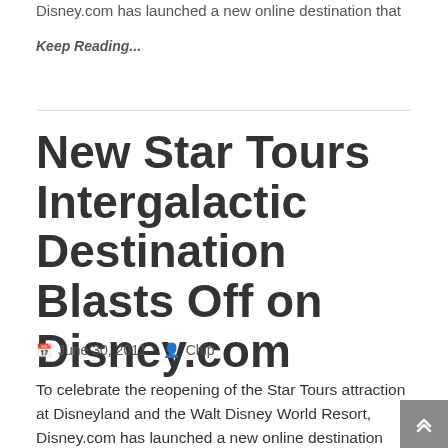Disney.com has launched a new online destination that
Keep Reading...
New Star Tours Intergalactic Destination Blasts Off on Disney.com
June 30, 2011  Chip
To celebrate the reopening of the Star Tours attraction at Disneyland and the Walt Disney World Resort, Disney.com has launched a new online destination that